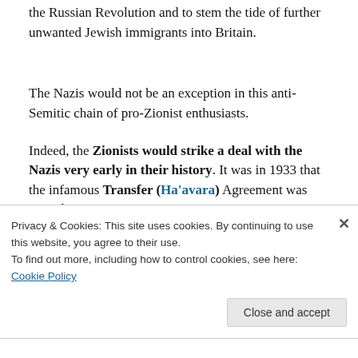the Russian Revolution and to stem the tide of further unwanted Jewish immigrants into Britain.
The Nazis would not be an exception in this anti-Semitic chain of pro-Zionist enthusiasts.
Indeed, the Zionists would strike a deal with the Nazis very early in their history. It was in 1933 that the infamous Transfer (Ha'avara) Agreement was signed
Privacy & Cookies: This site uses cookies. By continuing to use this website, you agree to their use.
To find out more, including how to control cookies, see here: Cookie Policy
Close and accept